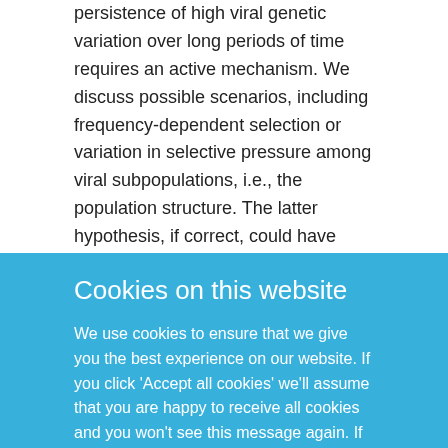persistence of high viral genetic variation over long periods of time requires an active mechanism. We discuss possible scenarios, including frequency-dependent selection or variation in selective pressure among viral subpopulations, i.e., the population structure. The latter hypothesis, if correct, could have relevance to the success of newer direct-acting antiviral therapies.
Original publication
DOI
10.1128/JVI.00749-12
Cookies on this website
We use cookies to ensure that we give you the best experience on our website. If you click 'Accept all cookies' we'll assume that you are happy to receive all cookies and you won't see this message again. If you click 'Reject all non-essential cookies' only necessary cookies providing